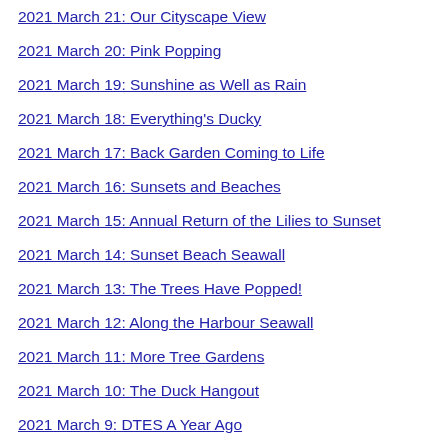2021 March 21: Our Cityscape View
2021 March 20: Pink Popping
2021 March 19: Sunshine as Well as Rain
2021 March 18: Everything's Ducky
2021 March 17: Back Garden Coming to Life
2021 March 16: Sunsets and Beaches
2021 March 15: Annual Return of the Lilies to Sunset
2021 March 14: Sunset Beach Seawall
2021 March 13: The Trees Have Popped!
2021 March 12: Along the Harbour Seawall
2021 March 11: More Tree Gardens
2021 March 10: The Duck Hangout
2021 March 9: DTES A Year Ago